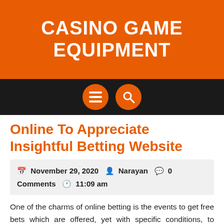CASINO GAME EQUIPMENT
[Figure (other): Dark navigation bar with two orange circular icon buttons: a hamburger menu icon and a search/magnifying glass icon]
Online To Appreciate Insightful Betting Website
November 29, 2020   Narayan   0 Comments   11:09 am
One of the charms of online betting is the events to get free bets which are offered, yet with specific conditions, to directors of online betting records. A free bet could